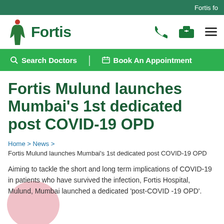Fortis fo
[Figure (logo): Fortis Healthcare logo with green figure icon and 'Fortis' text]
Search Doctors | Book An Appointment
Fortis Mulund launches Mumbai's 1st dedicated post COVID-19 OPD
Home > News > Fortis Mulund launches Mumbai's 1st dedicated post COVID-19 OPD
Aiming to tackle the short and long term implications of COVID-19 in patients who have survived the infection, Fortis Hospital, Mulund, Mumbai launched a dedicated 'post-COVID -19 OPD'.